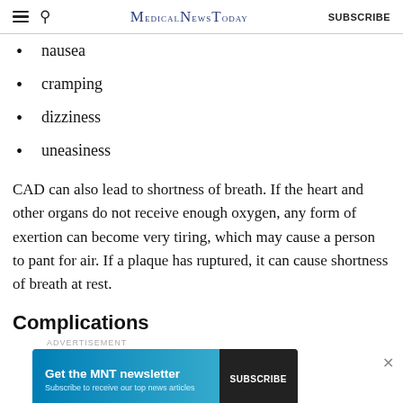MedicalNewsToday | SUBSCRIBE
nausea
cramping
dizziness
uneasiness
CAD can also lead to shortness of breath. If the heart and other organs do not receive enough oxygen, any form of exertion can become very tiring, which may cause a person to pant for air. If a plaque has ruptured, it can cause shortness of breath at rest.
Complications
[Figure (infographic): Advertisement banner for MNT newsletter: 'Get the MNT newsletter – Subscribe to receive our top news articles' with a SUBSCRIBE button on a blue gradient background.]